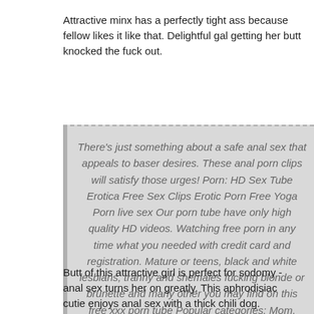Attractive minx has a perfectly tight ass because fellow likes it like that. Delightful gal getting her butt knocked the fuck out.
There’s just something about a safe anal sex that appeals to baser desires. These anal porn clips will satisfy those urges! Porn: HD Sex Tube Erotica Free Sex Clips Erotic Porn Free Yoga Porn live sex Our porn tube have only high quality HD videos. Watching free porn in any time what you needed with credit card and registration. Mature or teens, black and white lesbians, tranny and shemales fucking blonde or brunette and many other you may find on this free xxx porn tube Popular categories: Mom, Teen, Granny, Shemale, Mature, Stepmom, Lesbian, Vintage, Japanese, Wife, Milf, Old Man, Hairy, Cheating, Arab and much more
Butt of this attractive girl is perfect for sodomy - anal sex turns her on greatly. This aphrodisiac cutie enjoys anal sex with a thick chili dog. Vigorous blonde bombshell is always